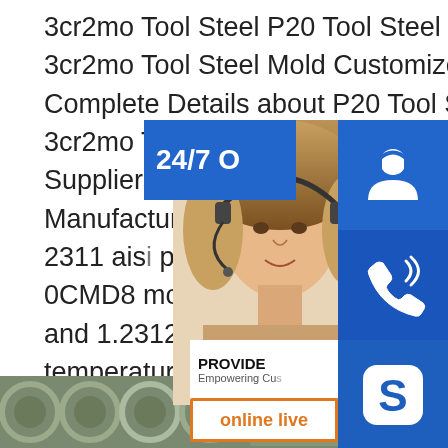3cr2mo Tool Steel P20 Tool Steel Suppliers 1.2311 Steel 3cr2mo Tool Steel Mold Customized Plastic Parts , Find Complete Details about P20 Tool Steel Suppliers 1.2311 Steel 3cr2mo Tool Steel Mold Customized P20 Steel Suppliers,1.2311 Steel,Aisi P20 Sheets Supplier or Manufacturer-Shanghai cal Technology Co., Ltd.sp.info1 2311 aisi p20 s and 1 2738 aisi p20 ni 1.2311, 1.2 0CMD8 mould steel. 1.2311, 1.2312, UN ption. 1.2311 and 1.2312 are plastic mou itable to operate in high temperature, used mainly for plastic moulds, hydroforming tools and frames for plastic pressure dies.They are highly hardenable, resistant to tempering and strong in high temperature.
[Figure (photo): Customer service representative (woman with headset) with overlaid widgets: 24/7 support icon, phone icon, Skype icon, PROVIDE Empowering Customers text, and online live button]
[Figure (photo): Bottom strip photo showing steel pipes/tubes in an industrial setting]